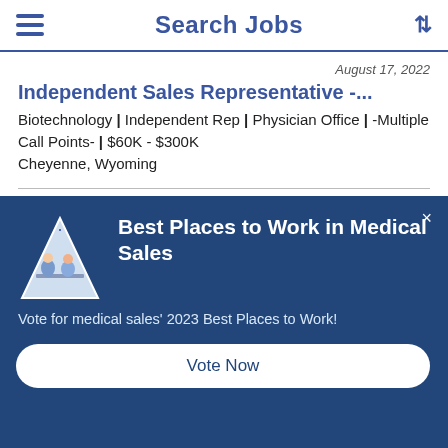Search Jobs
August 17, 2022
Independent Sales Representative -...
Biotechnology | Independent Rep | Physician Office | -Multiple Call Points- | $60K - $300K
Cheyenne, Wyoming
August 17, 2022
[Figure (infographic): Modal popup with dark blue background showing Best Places to Work in Medical Sales award logo (white triangle with people illustration), title 'Best Places to Work in Medical Sales', subtext 'Vote for medical sales'' 2023 Best Places to Work!', and a 'Vote Now' button. An X close button is in the top right corner.]